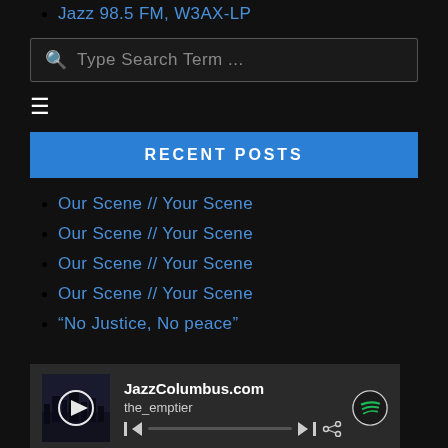Jazz 98.5 FM, W3AX-LP
[Figure (screenshot): Search input box with magnifier icon and placeholder text 'Type Search Term ...']
[Figure (infographic): Hamburger menu icon (three horizontal lines)]
RECENT POSTS
Our Scene // Your Scene
Our Scene // Your Scene
Our Scene // Your Scene
Our Scene // Your Scene
“No Justice, No peace”
[Figure (screenshot): Spotify music player widget showing JazzColumbus.com by the_emptier with a play button, thumbnail image of city at night, and Spotify logo]